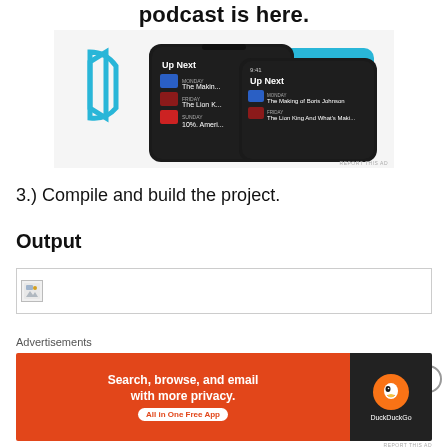[Figure (screenshot): Advertisement banner showing podcast app UI with smartphones displaying 'Up Next' queue with podcast episodes including 'The Making of Boris Johnson' and 'The Lion King'. Blue play button graphic and teal background element visible.]
3.) Compile and build the project.
Output
[Figure (screenshot): Broken image placeholder in a bordered box representing the output image.]
[Figure (screenshot): DuckDuckGo advertisement: 'Search, browse, and email with more privacy. All in One Free App' with DuckDuckGo logo on dark background.]